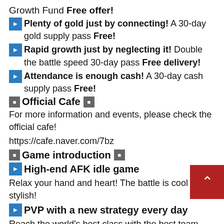Growth Fund Free offer!
▶ Plenty of gold just by connecting! A 30-day gold supply pass Free!
▶ Rapid growth just by neglecting it! Double the battle speed 30-day pass Free delivery!
▶ Attendance is enough cash! A 30-day cash supply pass Free!
▪ Official Cafe ▪
For more information and events, please check the official cafe!
https://cafe.naver.com/7bz
▪ Game introduction ▪
▶ High-end AFK idle game
Relax your hand and heart! The battle is cool and stylish!
▶ PVP with a new strategy every day
Reach the world's best class with the best team management!